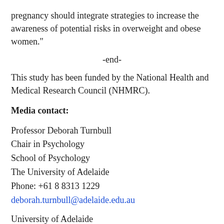pregnancy should integrate strategies to increase the awareness of potential risks in overweight and obese women."
-end-
This study has been funded by the National Health and Medical Research Council (NHMRC).
Media contact:
Professor Deborah Turnbull
Chair in Psychology
School of Psychology
The University of Adelaide
Phone: +61 8 8313 1229
deborah.turnbull@adelaide.edu.au
University of Adelaide